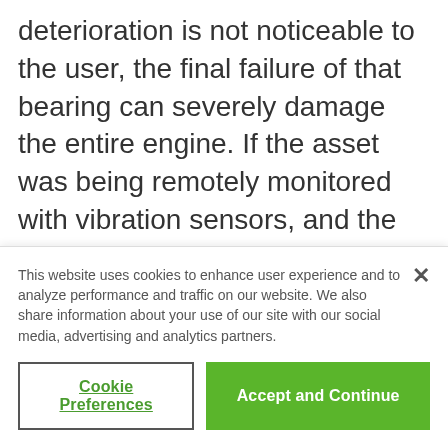deterioration is not noticeable to the user, the final failure of that bearing can severely damage the entire engine. If the asset was being remotely monitored with vibration sensors, and the bearing started to fail, the sensors could register the increase in vibration days or weeks before the actual failure and initiate a service request. The service technician would replace the failed bearing during a
This website uses cookies to enhance user experience and to analyze performance and traffic on our website. We also share information about your use of our site with our social media, advertising and analytics partners.